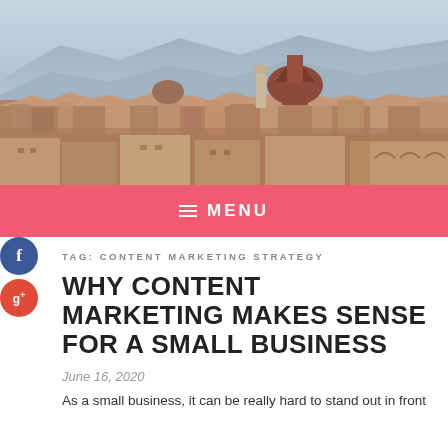[Figure (photo): Aerial panoramic view of Florence, Italy, showing the Duomo cathedral and rooftops of the city with mountains in the background]
MENU
[Figure (other): Facebook social share button (circular blue icon with 'f')]
[Figure (other): Google+ social share button (circular red icon with 'g+')]
TAG: CONTENT MARKETING STRATEGY
WHY CONTENT MARKETING MAKES SENSE FOR A SMALL BUSINESS
June 16, 2020
As a small business, it can be really hard to stand out in front